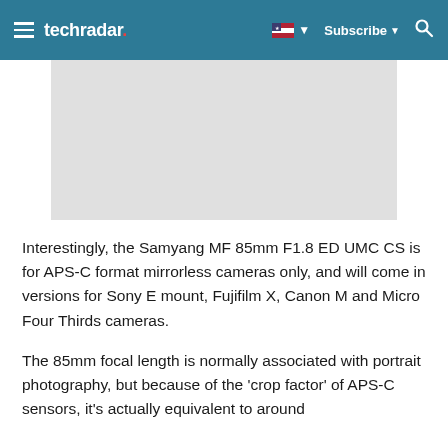techradar | Subscribe
[Figure (photo): Gray placeholder image area for a product photo]
Interestingly, the Samyang MF 85mm F1.8 ED UMC CS is for APS-C format mirrorless cameras only, and will come in versions for Sony E mount, Fujifilm X, Canon M and Micro Four Thirds cameras.
The 85mm focal length is normally associated with portrait photography, but because of the 'crop factor' of APS-C sensors, it's actually equivalent to around